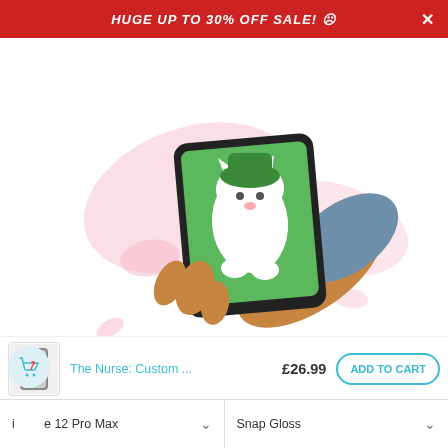HUGE UP TO 30% OFF SALE! ☹
[Figure (illustration): Cartoon illustration of a hand holding a tablet/phone displaying a white cat or dog on green grass, with pink splash decorations in background]
Upload Your Photo
Pick a photo from your camera roll, computer or even social
This website uses cookies to make sure you get the best experience with us.
Decline
The Nurse: Custom ...   £26.99   ADD TO CART
iPhone 12 Pro Max    Snap Gloss